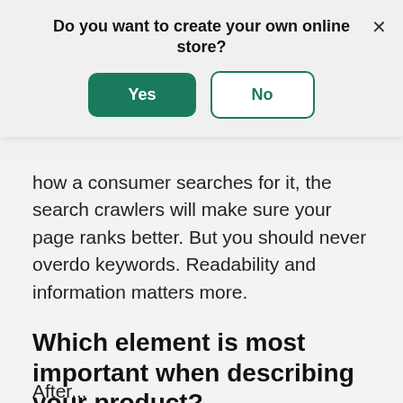Do you want to create your own online store?
Yes
No
how a consumer searches for it, the search crawlers will make sure your page ranks better. But you should never overdo keywords. Readability and information matters more.
Which element is most important when describing your product?
After...